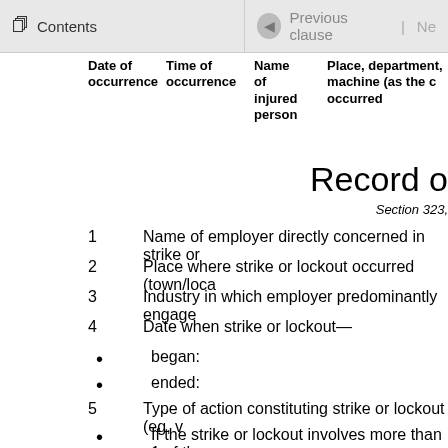Contents | Previous clause |
| Date of occurrence | Time of occurrence | Name of injured person | Place, department, machine (as the c occurred |
| --- | --- | --- | --- |
Record o
Section 323,
1  Name of employer directly concerned in strike or
2  Place where strike or lockout occurred (town/loca
3  Industry in which employer predominantly engage
4  Date when strike or lockout—
• began:
• ended:
5  Type of action constituting strike or lockout (eg, v
• If the strike or lockout involves more than 1 of th
6  Cause of strike or lockout [describe the substantiv
7  Resolution of strike or lockout [describe how a re or organisations were involved. Resolution of the the parties, a conciliation council, use of the Med